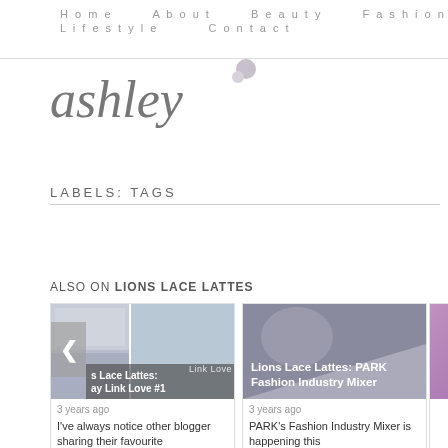Home   About   Beauty   Fashion   Lifestyle   Contact
[Figure (logo): Ashley cursive script logo with small decorative elements]
LABELS: TAGS
ALSO ON LIONS LACE LATTES
[Figure (screenshot): Card 1: Blog post thumbnail collage showing multiple images with overlay text 's Lace Lattes: ay Link Love #1', 3 years ago. Text: I've always notice other blogger sharing their favourite]
[Figure (screenshot): Card 2: Gray geometric background with overlay text 'Lions Lace Lattes: PARK Fashion Industry Mixer', 3 years ago. Text: PARK's Fashion Industry Mixer is happening this]
[Figure (photo): Partial third card with purple gradient image, partially cropped]